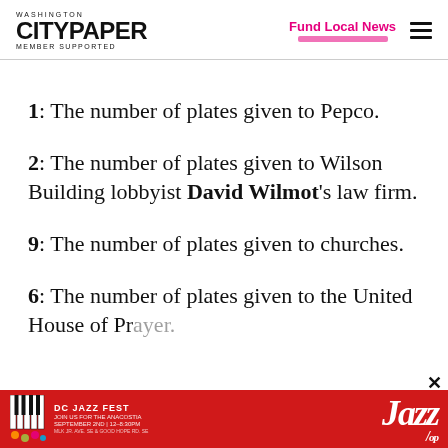Washington City Paper — MEMBER SUPPORTED | Fund Local News
1: The number of plates given to Pepco.
2: The number of plates given to Wilson Building lobbyist David Wilmot's law firm.
9: The number of plates given to churches.
6: The number of plates given to the United House of Prayer.
[Figure (infographic): DC Jazz Fest advertisement banner — red background with piano keys graphic, JOIN US FOR THE ANACOSTIA text, SEPTEMBER 2ND | 12-8:30PM, Jazz logo in stylized text]